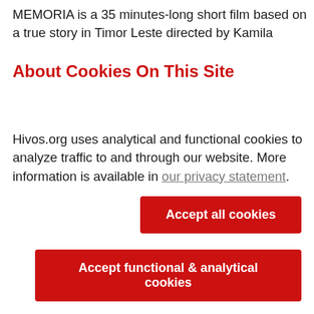MEMORIA is a 35 minutes-long short film based on a true story in Timor Leste directed by Kamila
About Cookies On This Site
Hivos.org uses analytical and functional cookies to analyze traffic to and through our website. More information is available in our privacy statement.
Accept all cookies
Accept functional & analytical cookies